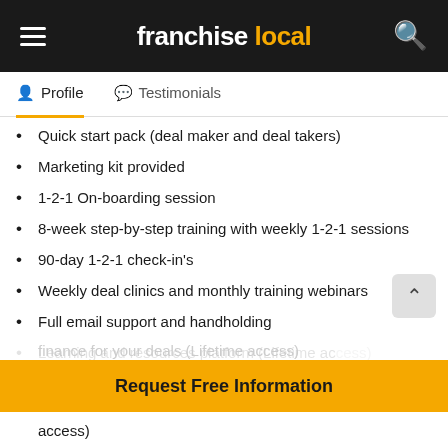franchise local
Profile | Testimonials
Quick start pack (deal maker and deal takers)
Marketing kit provided
1-2-1 On-boarding session
8-week step-by-step training with weekly 1-2-1 sessions
90-day 1-2-1 check-in's
Weekly deal clinics and monthly training webinars
Full email support and handholding
Learning and resources platform (Lifetime access)
Access to legal contracts (Lifetime access)
Access to our professional power team and finance for your deals (Lifetime access)
Request Free Information
access)